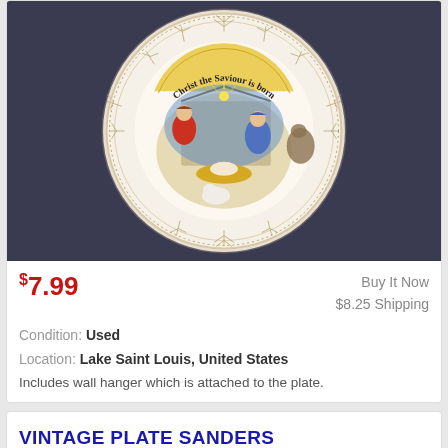[Figure (photo): A decorative ceramic plate with scalloped edges and gold leaf floral border pattern. The center depicts a nativity scene with text 'Christ the Saviour is born' in an arc. Shows Mary, Joseph, baby Jesus in manger, a lamb, and a donkey. Plate is photographed on a dark blue-gray surface.]
$7.99
Buy It Now
$8.25 Shipping
Condition: Used
Location: Lake Saint Louis, United States
Includes wall hanger which is attached to the plate.
VINTAGE PLATE SANDERS MFG NASHVILLE TN LORD'S